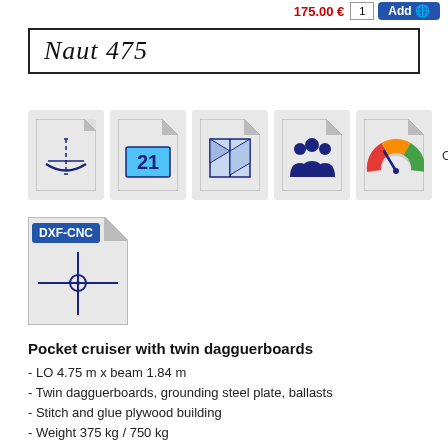Naut 475
[Figure (infographic): Five document/feature icons in a row: hull cross-section icon, page-21 icon, fold-plan icon, people-group icon, stability-gauge icon, followed by 'Option' label. Below: a DXF-CNC file icon.]
Option
Pocket cruiser with twin dagguerboards
- LO 4.75 m x beam 1.84 m
- Twin dagguerboards, grounding steel plate, ballasts
- Stitch and glue plywood building
- Weight 375 kg / 750 kg
- SA 12 to 16.5 m2 de voilure, junk or Cat boat
- Wooden mast with UD carbon or carbone tube
- 120° Angle of Vanishing Stability fully loaded
- 2 bunks, storages
- Optionnal DXF file for CNC cutting
- 21 sheets of ACX 6,7 or 8 mm plywood
- CE C1/D2